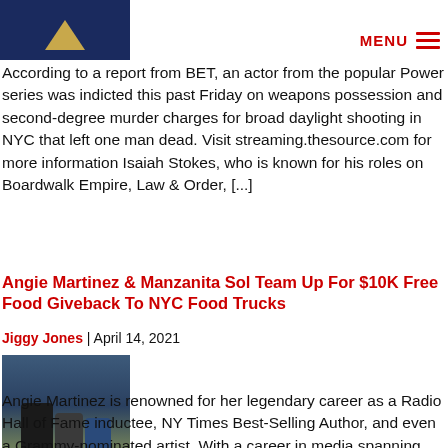[Figure (photo): Partial image of a person wearing a dark navy blue jacket with a gold/yellow chevron or triangle design, cropped at top-left of page.]
According to a report from BET, an actor from the popular Power series was indicted this past Friday on weapons possession and second-degree murder charges for broad daylight shooting in NYC that left one man dead. Visit streaming.thesource.com for more information Isaiah Stokes, who is known for his roles on Boardwalk Empire, Law & Order, [...]
Angie Martinez & Manzanita Sol Team Up For $10K Free Food Giveback To NYC Food Trucks
Jiggy Jones | April 14, 2021
[Figure (photo): Photo of people standing outdoors on a city street, with buildings visible in the background. Three individuals appear to be posing together.]
Angie Martinez is renowned for her legendary career as a Radio Hall of Fame inductee, NY Times Best-Selling Author, and even a Grammy-nominated artist. With a career in media spanning almost three